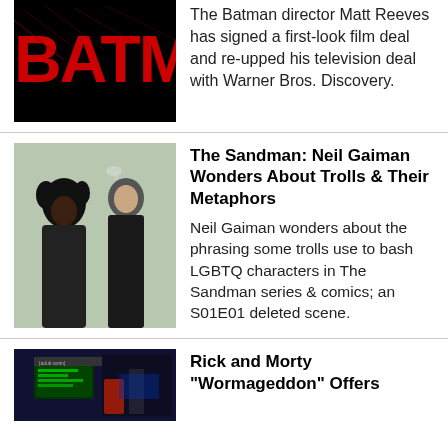[Figure (photo): The Batman movie logo on black background with red stylized text]
The Batman director Matt Reeves has signed a first-look film deal and re-upped his television deal with Warner Bros. Discovery.
[Figure (photo): Two actors from The Sandman series, a woman with curly hair and a man in black, standing outdoors]
The Sandman: Neil Gaiman Wonders About Trolls & Their Metaphors
Neil Gaiman wonders about the phrasing some trolls use to bash LGBTQ characters in The Sandman series & comics; an S01E01 deleted scene.
[Figure (screenshot): Rick and Morty animated show screenshot with dark background]
Rick and Morty "Wormageddon" Offers